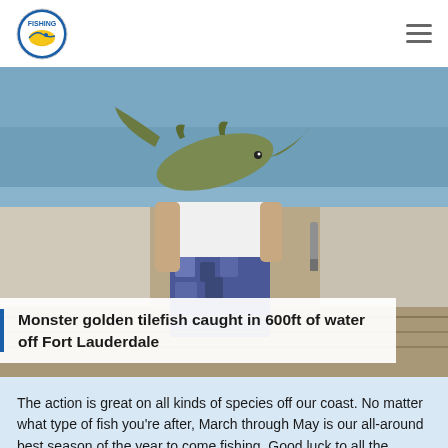Fishing logo and navigation menu
[Figure (photo): Person holding a large golden tilefish on a boat deck, with water visible in background]
Monster golden tilefish caught in 600ft of water off Fort Lauderdale
The action is great on all kinds of species off our coast.  No matter what type of fish you're after, March through May is our all-around best season of the year to come fishing.  Good luck to all the anglers fishing with us this week.